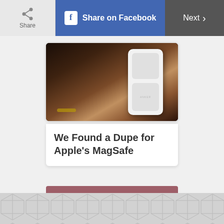Share | Share on Facebook | Next >
[Figure (photo): A hand holding a white iPhone with a white battery case/module attached to the back]
We Found a Dupe for Apple's MagSafe
[Figure (illustration): Advertisement illustration showing pink/magenta sunglasses on a mauve-colored background]
ADVERTISEMENT
[Figure (illustration): Gray geometric cube pattern at the bottom of the page]